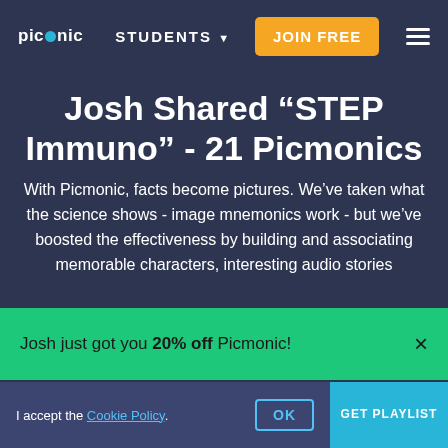picmonic  STUDENTS  JOIN FREE
Josh Shared "STEP Immuno" - 21 Picmonics
With Picmonic, facts become pictures. We've taken what the science shows - image mnemonics work - but we've boosted the effectiveness by building and associating memorable characters, interesting audio stories
Josh just got you 20% off Picmonic!
help.
I accept the Cookie Policy.
OK
GET PLAYLIST